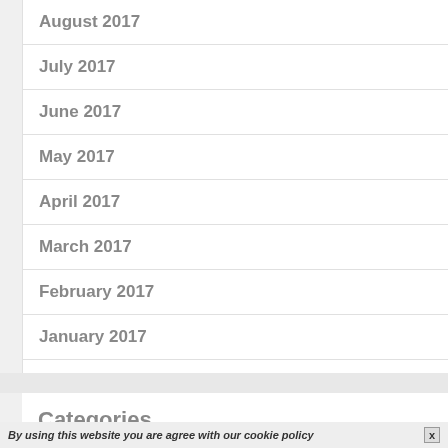August 2017
July 2017
June 2017
May 2017
April 2017
March 2017
February 2017
January 2017
December 2016
November 2016
Categories
By using this website you are agree with our cookie policy